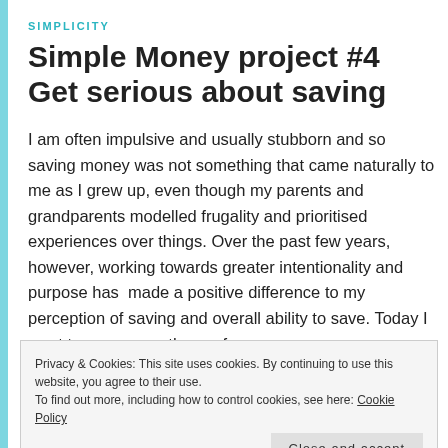SIMPLICITY
Simple Money project #4 Get serious about saving
I am often impulsive and usually stubborn and so saving money was not something that came naturally to me as I grew up, even though my parents and grandparents modelled frugality and prioritised experiences over things. Over the past few years, however, working towards greater intentionality and purpose has  made a positive difference to my perception of saving and overall ability to save. Today I want to encourage those of you
Privacy & Cookies: This site uses cookies. By continuing to use this website, you agree to their use.
To find out more, including how to control cookies, see here: Cookie Policy
Close and accept
needed to get our finances more in order and as we